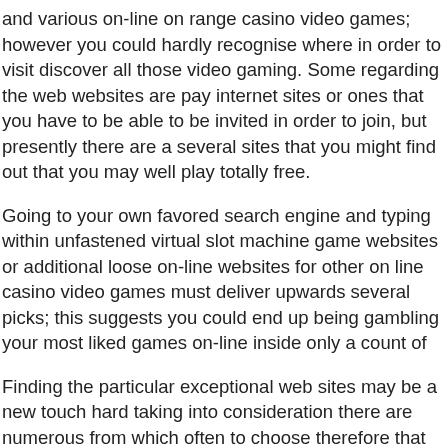and various on-line on range casino video games; however you could hardly recognise where in order to visit discover all those video gaming. Some regarding the web websites are pay internet sites or ones that you have to be able to be invited in order to join, but presently there are a several sites that you might find out that you may well play totally free.
Going to your own favored search engine and typing within unfastened virtual slot machine game websites or additional loose on-line websites for other on line casino video games must deliver upwards several picks; this suggests you could end up being gambling your most liked games on-line inside only a count of
Finding the particular exceptional web sites may be a new touch hard taking into consideration there are numerous from which often to choose therefore that you would like to ensure that a person take an appearance at out each one website well, inside particular for individuals have money engaged in